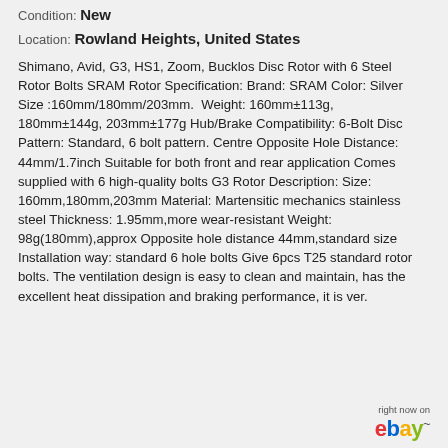Condition: New
Location: Rowland Heights, United States
Shimano, Avid, G3, HS1, Zoom, Bucklos Disc Rotor with 6 Steel Rotor Bolts SRAM Rotor Specification: Brand: SRAM Color: Silver Size :160mm/180mm/203mm.  Weight: 160mm±113g, 180mm±144g, 203mm±177g Hub/Brake Compatibility: 6-Bolt Disc Pattern: Standard, 6 bolt pattern. Centre Opposite Hole Distance: 44mm/1.7inch Suitable for both front and rear application Comes supplied with 6 high-quality bolts G3 Rotor Description: Size: 160mm,180mm,203mm Material: Martensitic mechanics stainless steel Thickness: 1.95mm,more wear-resistant Weight: 98g(180mm),approx Opposite hole distance 44mm,standard size Installation way: standard 6 hole bolts Give 6pcs T25 standard rotor bolts. The ventilation design is easy to clean and maintain, has the excellent heat dissipation and braking performance, it is ver.
[Figure (logo): eBay logo with 'right now on' text above]